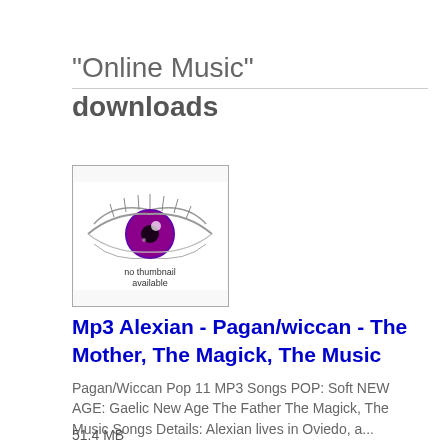"Online Music" downloads
[Figure (illustration): Album thumbnail showing a drawn eye with purple iris on white background, with text 'no thumbnail available' overlaid at bottom]
Mp3 Alexian - Pagan/wiccan - The Mother, The Magick, The Music
Pagan/Wiccan Pop 11 MP3 Songs POP: Soft NEW AGE: Gaelic New Age The Father The Magick, The Music Songs Details: Alexian lives in Oviedo, a...
51.4 MB